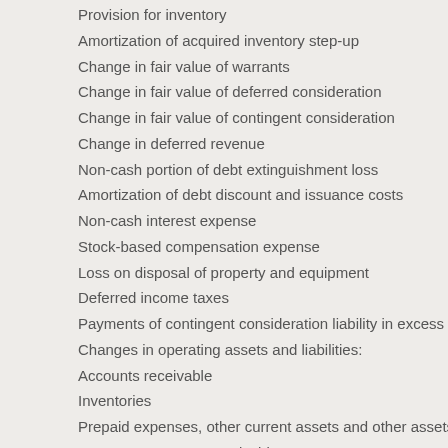Provision for inventory
Amortization of acquired inventory step-up
Change in fair value of warrants
Change in fair value of deferred consideration
Change in fair value of contingent consideration
Change in deferred revenue
Non-cash portion of debt extinguishment loss
Amortization of debt discount and issuance costs
Non-cash interest expense
Stock-based compensation expense
Loss on disposal of property and equipment
Deferred income taxes
Payments of contingent consideration liability in excess of acqu
Changes in operating assets and liabilities:
Accounts receivable
Inventories
Prepaid expenses, other current assets and other assets
Insurance recovery receivable
Accounts payable
Accrued and other liabilities
Legal settlement payable